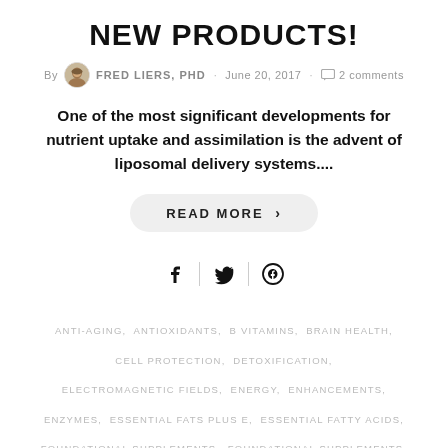NEW PRODUCTS!
By FRED LIERS, PHD · June 20, 2017 · 2 comments
One of the most significant developments for nutrient uptake and assimilation is the advent of liposomal delivery systems....
READ MORE >
[Figure (other): Social share icons: Facebook, Twitter, Pinterest]
ANTI-AGING, ANTIOXIDANTS, B VITAMINS, BRAIN HEALTH, CELL PROTECTION, DETOXIFICATION, ELECTROMAGNETIC FIELDS, ENERGY, ENHANCEMENTS, ENZYMES, ESSENTIAL FATS PLUS E, ESSENTIAL FATTY ACIDS, FOUNDATIONAL SUPPLEMENTS, FOUNDATIONAL SUPPLEMENTS, GENETIC TESTING, GENETICS, GUT HEALTH, HEALTH RECOMMENDATIONS, HEALTH SCIENCE, HYDROGEN, IMMUNITY, INFLAMMATION, MEGAHYDRATE, MICROBIOME, MIGHTY MULTI-VITE!, MULTI TWO, MULTIVITAMINS, MYO-MAG, NRF2 ACTIVATORS, NUCLEIC ACIDS, NUTRITION, NUTRITIONAL SUPPLEMENTS, ORTHOMOLECULAR MEDICINE, PRO-C, PRODUCTS, RADIATION, RECOVERY,